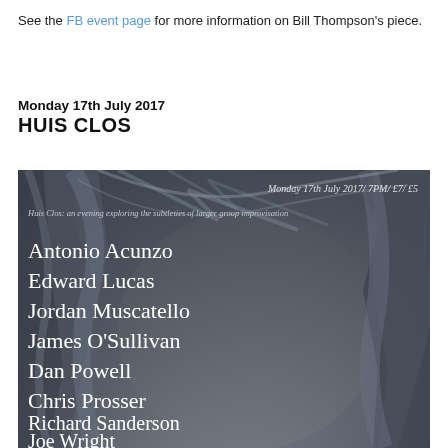See the FB event page for more information on Bill Thompson's piece.
Monday 17th July 2017
HUIS CLOS
[Figure (illustration): Event poster with abstract painted background in blue-grey tones showing artistic brushstrokes. White text lists performers: Antonio Acunzo, Edward Lucas, Jordan Muscatello, James O'Sullivan, Dan Powell, Chris Prosser, Richard Sanderson, Joe Wright. Header info: Monday 17th July 2017 / 7PM / £7 / £5. Subtitle: Huis Clos: an evening exploring the subtleties of larger group improvisation.]